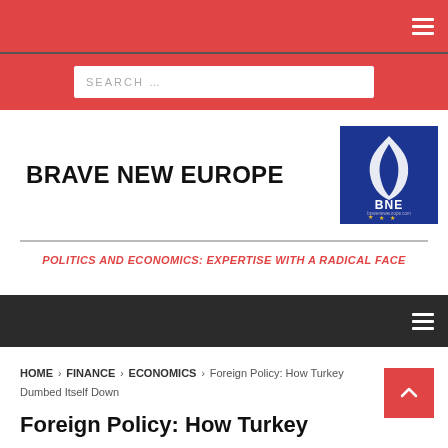BRAVE NEW EUROPE — navigation bar with hamburger menu
[Figure (screenshot): Search bar on red background with text SEARCH ...]
BRAVE NEW EUROPE
[Figure (logo): BNE logo on dark blue background with flame and stars]
POLITICS AND ECONOMICS: EXPERTISE WITH A RADICAL FACE
Navigation bar dark background with hamburger menu
HOME > FINANCE > ECONOMICS > Foreign Policy: How Turkey Dumbed Itself Down
Foreign Policy: How Turkey